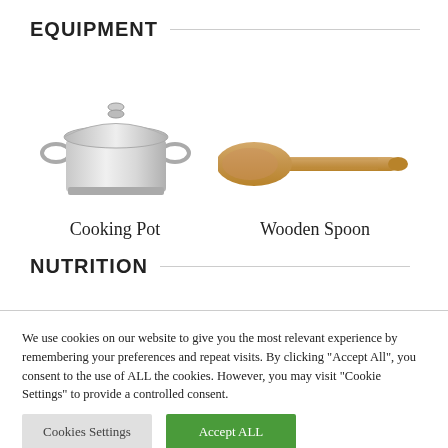EQUIPMENT
[Figure (illustration): Stainless steel cooking pot with lid and two handles]
Cooking Pot
[Figure (illustration): Wooden spoon with flat spatula head]
Wooden Spoon
NUTRITION
We use cookies on our website to give you the most relevant experience by remembering your preferences and repeat visits. By clicking "Accept All", you consent to the use of ALL the cookies. However, you may visit "Cookie Settings" to provide a controlled consent.
Cookies Settings
Accept ALL